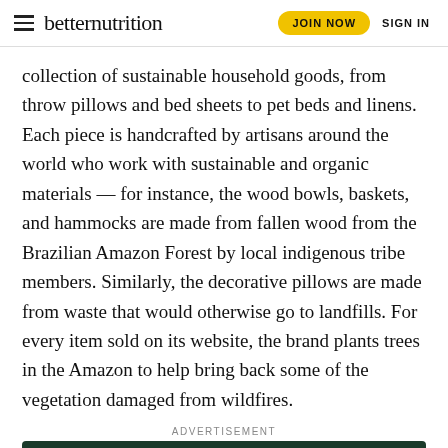betternutrition | JOIN NOW | SIGN IN
collection of sustainable household goods, from throw pillows and bed sheets to pet beds and linens. Each piece is handcrafted by artisans around the world who work with sustainable and organic materials — for instance, the wood bowls, baskets, and hammocks are made from fallen wood from the Brazilian Amazon Forest by local indigenous tribe members. Similarly, the decorative pillows are made from waste that would otherwise go to landfills. For every item sold on its website, the brand plants trees in the Amazon to help bring back some of the vegetation damaged from wildfires.
ADVERTISEMENT
[Figure (photo): GO RVING advertisement with dark green background, yellow GO RVING logo and text 'GO ON A REAL VACATION']
[Figure (photo): Chevrolet Silverado 2022 advertisement with truck image and 'THE NEW 2022 SILVERADO.' text and Explore button]